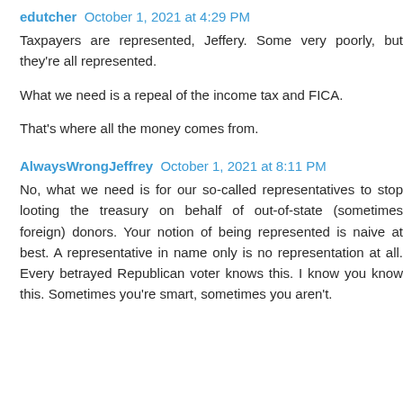edutcher  October 1, 2021 at 4:29 PM
Taxpayers are represented, Jeffery. Some very poorly, but they're all represented.

What we need is a repeal of the income tax and FICA.

That's where all the money comes from.
AlwaysWrongJeffrey  October 1, 2021 at 8:11 PM
No, what we need is for our so-called representatives to stop looting the treasury on behalf of out-of-state (sometimes foreign) donors. Your notion of being represented is naive at best. A representative in name only is no representation at all. Every betrayed Republican voter knows this. I know you know this. Sometimes you're smart, sometimes you aren't.